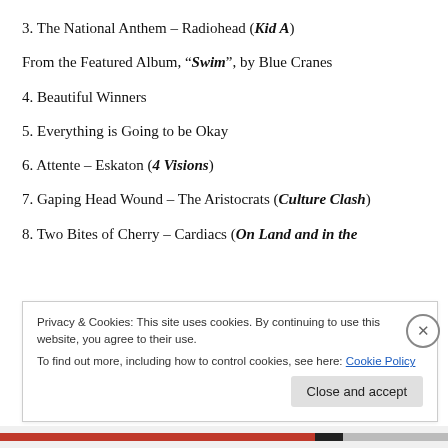3. The National Anthem – Radiohead (Kid A)
From the Featured Album, “Swim”, by Blue Cranes
4. Beautiful Winners
5. Everything is Going to be Okay
6. Attente – Eskaton (4 Visions)
7. Gaping Head Wound – The Aristocrats (Culture Clash)
8. Two Bites of Cherry – Cardiacs (On Land and in the
Privacy & Cookies: This site uses cookies. By continuing to use this website, you agree to their use.
To find out more, including how to control cookies, see here: Cookie Policy
Close and accept